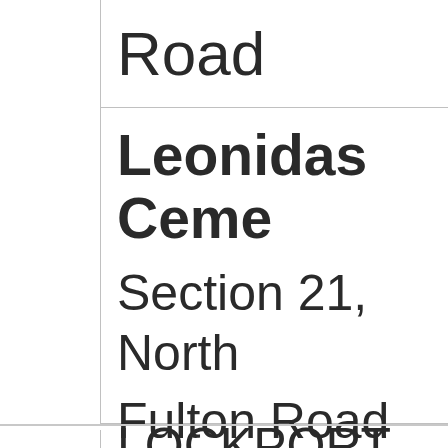Road
Leonidas Ceme[tery]
Section 21, North[...]
Fulton Road
LOCKPORT TOWN[SHIP]
Culbertson Fa[rm]